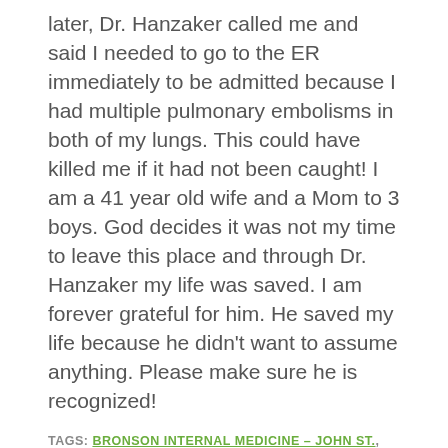later, Dr. Hanzaker called me and said I needed to go to the ER immediately to be admitted because I had multiple pulmonary embolisms in both of my lungs. This could have killed me if it had not been caught! I am a 41 year old wife and a Mom to 3 boys. God decides it was not my time to leave this place and through Dr. Hanzaker my life was saved. I am forever grateful for him. He saved my life because he didn't want to assume anything. Please make sure he is recognized!
TAGS: BRONSON INTERNAL MEDICINE – JOHN ST., PRIMARY CARE
[Figure (logo): Bronson healthcare logo — a green stethoscope forming a heart shape with two small green squares at the top]